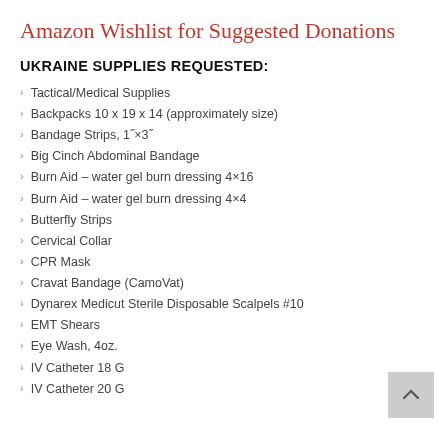Amazon Wishlist for Suggested Donations
UKRAINE SUPPLIES REQUESTED:
Tactical/Medical Supplies
Backpacks 10 x 19 x 14 (approximately size)
Bandage Strips, 1"×3"
Big Cinch Abdominal Bandage
Burn Aid – water gel burn dressing 4×16
Burn Aid – water gel burn dressing 4×4
Butterfly Strips
Cervical Collar
CPR Mask
Cravat Bandage (CamoVat)
Dynarex Medicut Sterile Disposable Scalpels #10
EMT Shears
Eye Wash, 4oz.
IV Catheter 18 G
IV Catheter 20 G